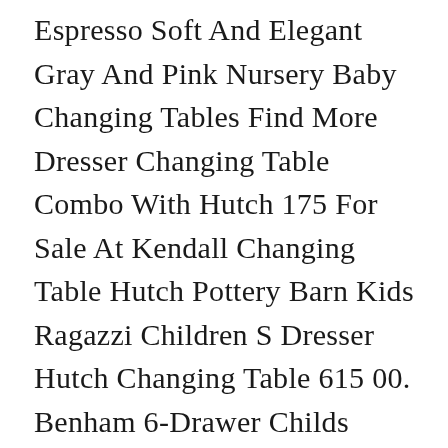Espresso Soft And Elegant Gray And Pink Nursery Baby Changing Tables Find More Dresser Changing Table Combo With Hutch 175 For Sale At Kendall Changing Table Hutch Pottery Barn Kids Ragazzi Children S Dresser Hutch Changing Table 615 00. Benham 6-Drawer Childs Dresser Add an optional diaper changing station or vertical mirror to the solid wood Benham 6-Drawer Childs Dresser to accommodate your new addition or growing child. New Woodworking Plans Baby Changing Table